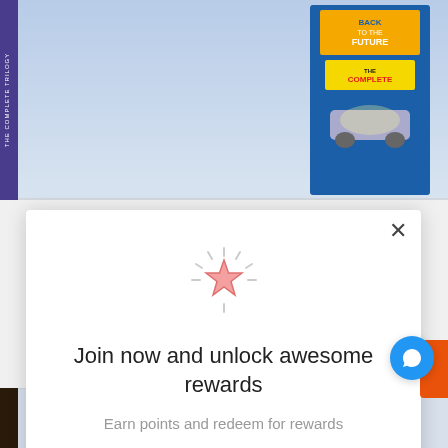[Figure (screenshot): Top portion of a product page showing Back to the Future Complete Trilogy Blu-ray/DVD cover art with blue background and DeLorean car imagery]
[Figure (screenshot): Bottom portion of product page showing another Back to the Future Complete Adventures product]
[Figure (infographic): Modal popup dialog with glowing star icon, title, subtitle, Join Now button, and sign in link]
Join now and unlock awesome rewards
Earn points and redeem for rewards
Join Now
Already a member? Sign in